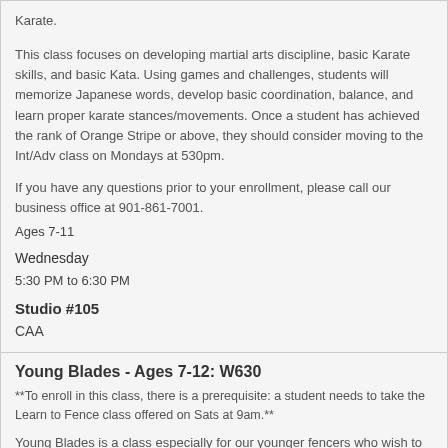Karate.
This class focuses on developing martial arts discipline, basic Karate skills, and basic Kata. Using games and challenges, students will memorize Japanese words, develop basic coordination, balance, and learn proper karate stances/movements. Once a student has achieved the rank of Orange Stripe or above, they should consider moving to the Int/Adv class on Mondays at 530pm.
If you have any questions prior to your enrollment, please call our business office at 901-861-7001.
Ages 7-11
Wednesday
5:30 PM to 6:30 PM
Studio #105
CAA
Young Blades - Ages 7-12: W630
**To enroll in this class, there is a prerequisite: a student needs to take the Learn to Fence class offered on Sats at 9am.**
Young Blades is a class especially for our younger fencers who wish to